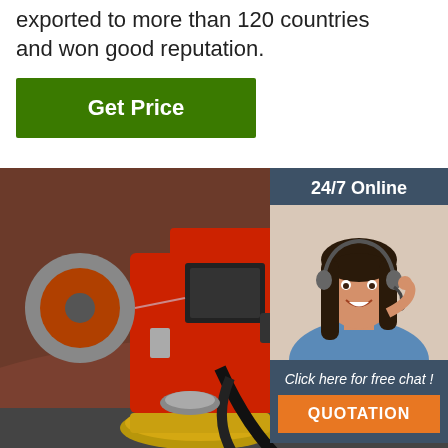exported to more than 120 countries and won good reputation.
Get Price
[Figure (photo): Industrial welding or pipe processing machine with red body, spool of wire, black cables, and gold-colored wheel, mounted on a large brown pipe in a factory setting.]
[Figure (photo): Customer service representative: smiling woman with dark hair wearing a headset and blue shirt, in a chat widget with '24/7 Online' header, 'Click here for free chat!' text, and orange QUOTATION button.]